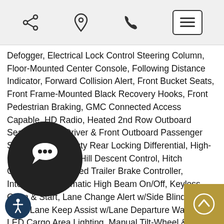[Share icon] [Location icon] [Phone icon] [Menu button]
Defogger, Electrical Lock Control Steering Column, Floor-Mounted Center Console, Following Distance Indicator, Forward Collision Alert, Front Bucket Seats, Front Frame-Mounted Black Recovery Hooks, Front Pedestrian Braking, GMC Connected Access Capable, HD Radio, Heated 2nd Row Outboard Seats, Heated Driver & Front Outboard Passenger Seating, Heavy-Duty Rear Locking Differential, High-Capacity Air Filter, Hill Descent Control, Hitch Guidance, Integrated Trailer Brake Controller, IntelliBeam Automatic High Beam On/Off, Keyless Open & Start, Lane Change Alert w/Side Blind Zone Alert, Lane Keep Assist w/Lane Departure Warning, LED Cargo Area Lighting, Manual Tilt-Wheel & Telescoping Steering Column, Off-Road Suspension, OnStar & GMC Connected Services Capable, Perimeter Lighting, Power Door Locks, Power Front Passenger Window w/Express Up/Down, Power Front Windows w/Driver Express Down, Power Rear Windows w/Express Down, Power Rear Window w/Rear Defogger, Preferred Equipment Group 4SA, Premium Bose 7-Speaker Sound